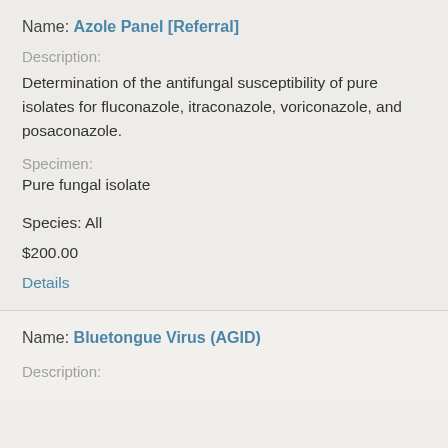Name: Azole Panel [Referral]
Description:
Determination of the antifungal susceptibility of pure isolates for fluconazole, itraconazole, voriconazole, and posaconazole.
Specimen:
Pure fungal isolate
Species: All
$200.00
Details
Name: Bluetongue Virus (AGID)
Description: